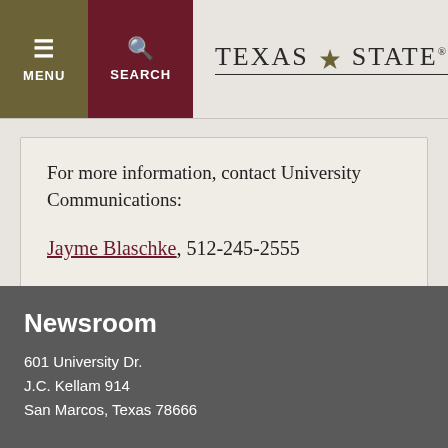MENU | SEARCH | TEXAS STATE
For more information, contact University Communications:
Jayme Blaschke, 512-245-2555
Sandy Pantlik, 512-245-2922
Newsroom
601 University Dr.
J.C. Kellam 914
San Marcos, Texas 78666